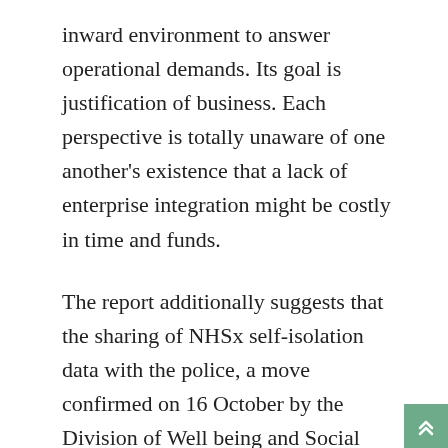inward environment to answer operational demands. Its goal is justification of business. Each perspective is totally unaware of one another's existence that a lack of enterprise integration might be costly in time and funds.
The report additionally suggests that the sharing of NHSx self-isolation data with the police, a move confirmed on 16 October by the Division of Well being and Social Care, could have a destructive effect on the adoption of the app by the public. The researchers state this might increase the non-public value to the potential adopter with out providing any corresponding benefits to the